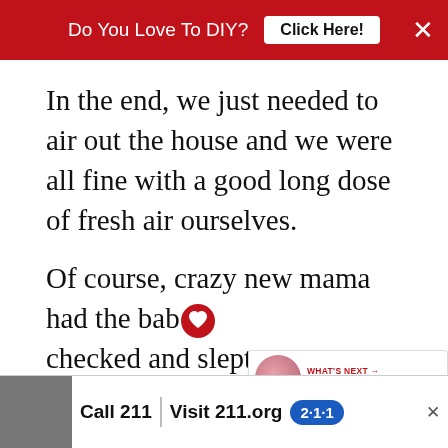Do You Love To DIY? Click Here! ×
In the end, we just needed to air out the house and we were all fine with a good long dose of fresh air ourselves.
Of course, crazy new mama had the baby checked and slept at my sister's house that evening. The levels hadn't been high enough for danger, but who knows if they would've gotten there after a few more hours.
[Figure (screenshot): WHAT'S NEXT → My Thrift Store Stinks promotional widget with circular flower image]
[Figure (screenshot): Call 211 | Visit 211.org advertisement bar with 2-1-1 badge logo and man's photo]